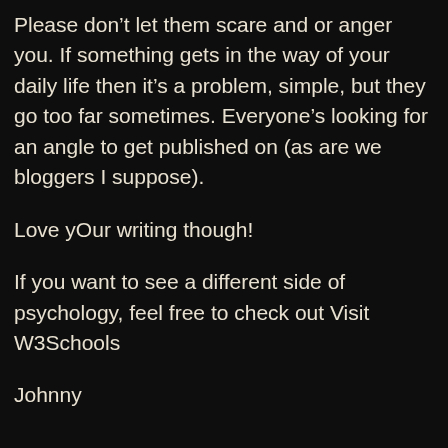Please don’t let them scare and or anger you. If something gets in the way of your daily life then it’s a problem, simple, but they go too far sometimes. Everyone’s looking for an angle to get published on (as are we bloggers I suppose).
Love yOur writing though!
If you want to see a different side of psychology, feel free to check out Visit W3Schools
Johnny